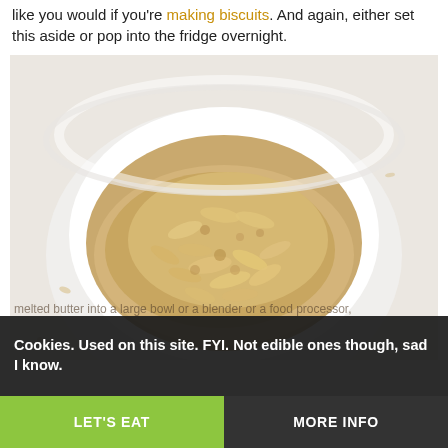like you would if you're making biscuits. And again, either set this aside or pop into the fridge overnight.
[Figure (photo): Overhead photo of a white ceramic bowl filled with oat crumble mixture (oats and crumbled dry ingredients) on a white surface.]
Cookies. Used on this site. FYI. Not edible ones though, sad I know.
melted butter into a large bowl or a blender or a food processor,
LET'S EAT
MORE INFO